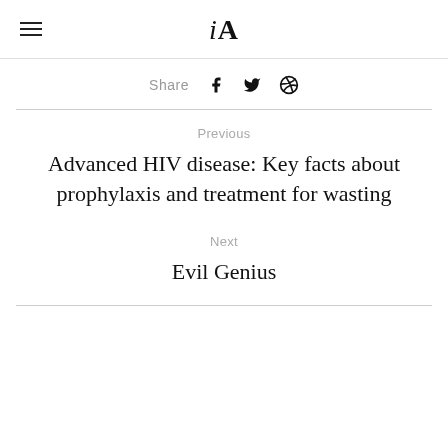iA
Share
Previous
Advanced HIV disease: Key facts about prophylaxis and treatment for wasting
Next
Evil Genius